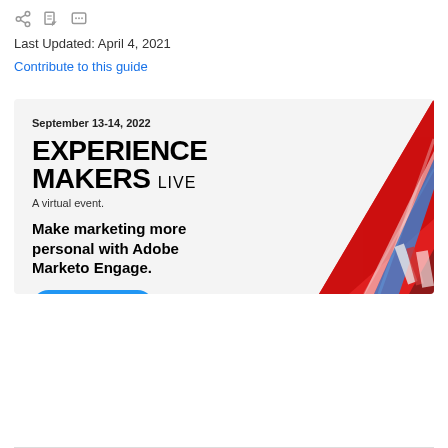[Figure (screenshot): Toolbar with share, edit/bookmark, and comment icon buttons in gray]
Last Updated: April 4, 2021
Contribute to this guide
[Figure (infographic): Adobe Experience Makers Live advertisement banner. Date: September 13-14, 2022. Title: EXPERIENCE MAKERS LIVE. Subtitle: A virtual event. Tagline: Make marketing more personal with Adobe Marketo Engage. Button: Register now. Right side has decorative red diagonal image.]